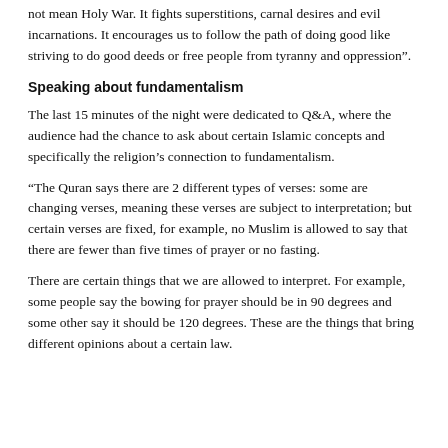not mean Holy War. It fights superstitions, carnal desires and evil incarnations. It encourages us to follow the path of doing good like striving to do good deeds or free people from tyranny and oppression”.
Speaking about fundamentalism
The last 15 minutes of the night were dedicated to Q&A, where the audience had the chance to ask about certain Islamic concepts and specifically the religion’s connection to fundamentalism.
“The Quran says there are 2 different types of verses: some are changing verses, meaning these verses are subject to interpretation; but certain verses are fixed, for example, no Muslim is allowed to say that there are fewer than five times of prayer or no fasting.
There are certain things that we are allowed to interpret. For example, some people say the bowing for prayer should be in 90 degrees and some other say it should be 120 degrees. These are the things that bring different opinions about a certain law.